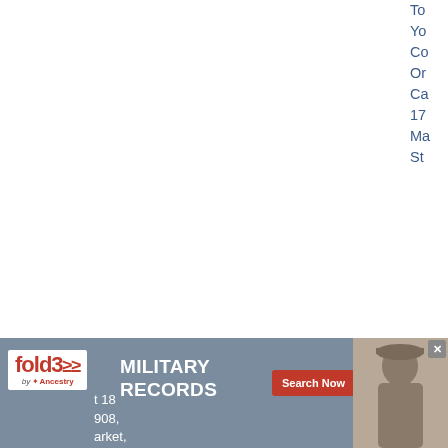To... Yo... Co... Or... Ca... 17... Ma... St... (partial text cut off at right edge)
5. Ellen Jane SMITH (c. 1883- ). Born c. Aug 1883, Sible Hedingham, Halstead District, Essex, England. Bap 28 Nov 1883, St Peter, Sible Hedingham, Halstead District, Essex, England. Marr Arthur Joseph ... 18 ... 908, ... arket,
[Figure (other): Advertisement banner: fold3 Military Records by Ancestry - Search Now button, with soldier photo]